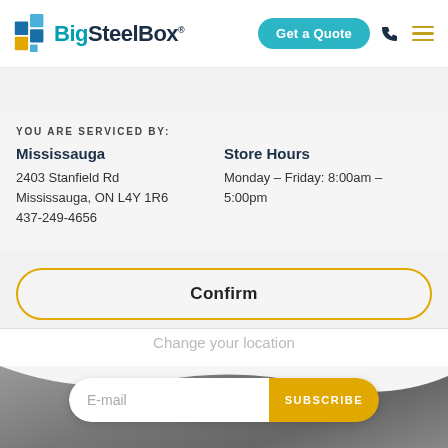BigSteelBox – Get a Quote
CONFIRM YOUR LOCATION:
YOU ARE SERVICED BY:
Mississauga
2403 Stanfield Rd
Mississauga, ON L4Y 1R6
437-249-4656
Store Hours
Monday – Friday: 8:00am – 5:00pm
Confirm
Change your location
E-mail
SUBSCRIBE